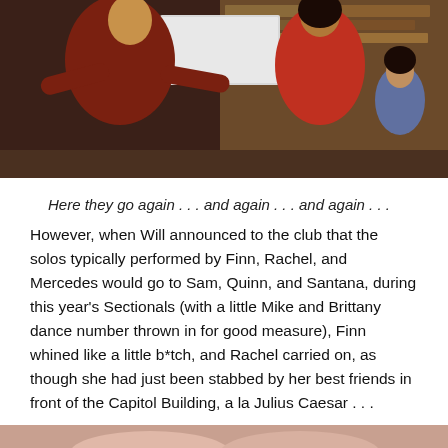[Figure (photo): Two people dancing/gesturing energetically in a classroom, with a third person seated in background]
Here they go again . . . and again . . . and again . . .
However, when Will announced to the club that the solos typically performed by Finn, Rachel, and Mercedes would go to Sam, Quinn, and Santana, during this year’s Sectionals (with a little Mike and Brittany dance number thrown in for good measure), Finn whined like a little b*tch, and Rachel carried on, as though she had just been stabbed by her best friends in front of the Capitol Building, a la Julius Caesar . . .
[Figure (photo): Close-up of pink/flesh-colored surface, partially visible at bottom of page]